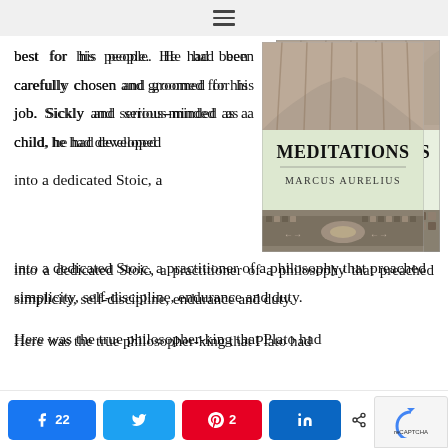≡
best for his people. He had been carefully chosen and groomed for his job. Sickly and serious-minded as a child, he had developed into a dedicated Stoic, a practitioner of a philosophy that preached simplicity, self-discipline, endurance and duty.
[Figure (photo): Book cover of Meditations by Marcus Aurelius, showing a marble statue torso at top and decorative mosaic at bottom, with the title MEDITATIONS and author name Marcus Aurelius in the center on a light background]
Here was the true philosopher-king that Plato had
22 (Facebook shares)
Twitter share button
2 (Pinterest shares)
LinkedIn share button
< 24 SHARES